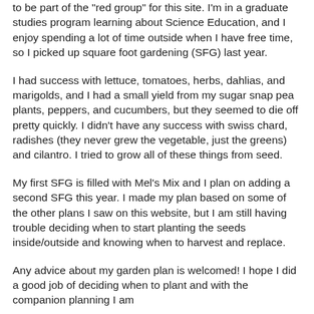to be part of the "red group" for this site. I'm in a graduate studies program learning about Science Education, and I enjoy spending a lot of time outside when I have free time, so I picked up square foot gardening (SFG) last year.
I had success with lettuce, tomatoes, herbs, dahlias, and marigolds, and I had a small yield from my sugar snap pea plants, peppers, and cucumbers, but they seemed to die off pretty quickly. I didn't have any success with swiss chard, radishes (they never grew the vegetable, just the greens) and cilantro. I tried to grow all of these things from seed.
My first SFG is filled with Mel's Mix and I plan on adding a second SFG this year. I made my plan based on some of the other plans I saw on this website, but I am still having trouble deciding when to start planting the seeds inside/outside and knowing when to harvest and replace.
Any advice about my garden plan is welcomed! I hope I did a good job of deciding when to plant and with the companion planning I am trying this year. The then some common the next idea of